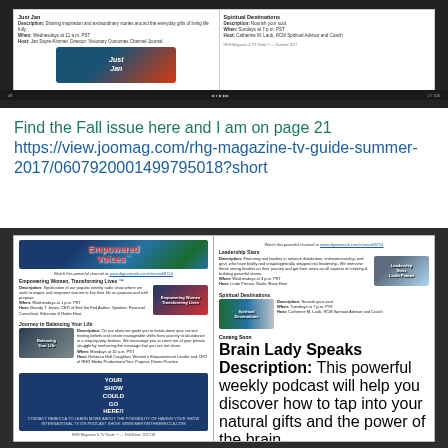[Figure (screenshot): Screenshot of a magazine TV guide page showing 'Just Jan' and 'Spiritual Destinations' show listings in a dark browser/video player frame]
Find the Fall issue here and I am on page 21 https://view.joomag.com/rhg-magazine-tv-guide-summer-2017/0607920001499795018?short
[Figure (screenshot): Screenshot of RHG Magazine & TV Guide showing 'Empowered Voices' channel page with show listings: Empowering Women Transforming Lives, Leadership Stars, Journey to Balancing Your Life, Spiritual Destinations, Coming Soon: Brain Lady Speaks, and a promo box and Mastering the Art of Becoming the REAL You banner]